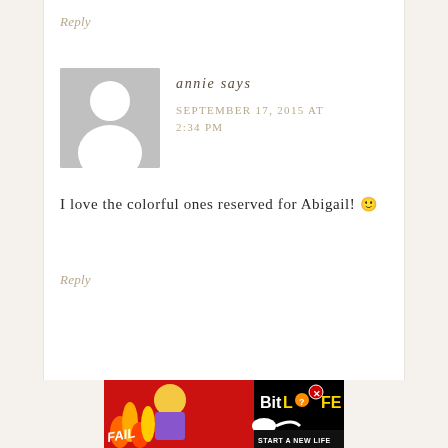Reply
annie says
SEPTEMBER 17, 2015 AT 2:34 PM
I love the colorful ones reserved for Abigail! 🙂
Reply
[Figure (screenshot): Advertisement banner for BitLife game with red background, flames, cartoon character, FAIL text, and 'START A NEW LIFE' tagline]